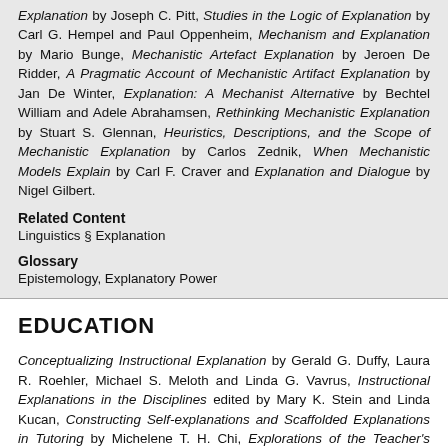Explanation by Joseph C. Pitt, Studies in the Logic of Explanation by Carl G. Hempel and Paul Oppenheim, Mechanism and Explanation by Mario Bunge, Mechanistic Artefact Explanation by Jeroen De Ridder, A Pragmatic Account of Mechanistic Artifact Explanation by Jan De Winter, Explanation: A Mechanist Alternative by Bechtel William and Adele Abrahamsen, Rethinking Mechanistic Explanation by Stuart S. Glennan, Heuristics, Descriptions, and the Scope of Mechanistic Explanation by Carlos Zednik, When Mechanistic Models Explain by Carl F. Craver and Explanation and Dialogue by Nigel Gilbert.
Related Content
Linguistics § Explanation
Glossary
Epistemology, Explanatory Power
EDUCATION
Conceptualizing Instructional Explanation by Gerald G. Duffy, Laura R. Roehler, Michael S. Meloth and Linda G. Vavrus, Instructional Explanations in the Disciplines edited by Mary K. Stein and Linda Kucan, Constructing Self-explanations and Scaffolded Explanations in Tutoring by Michelene T. H. Chi, Explorations of the Teacher's Effectiveness in